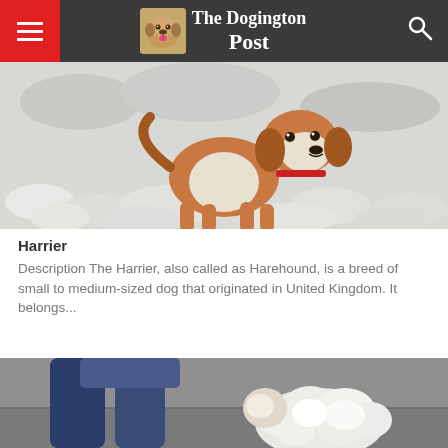The Dogington Post
[Figure (photo): A Harrier dog standing in snow, brown and white coloring, wearing a red collar, looking at camera.]
Harrier
Description The Harrier, also called as Harehound, is a breed of small to medium-sized dog that originated in United Kingdom. It belongs...
[Figure (photo): Partial view of a fluffy white dog near a person's legs on a sidewalk.]